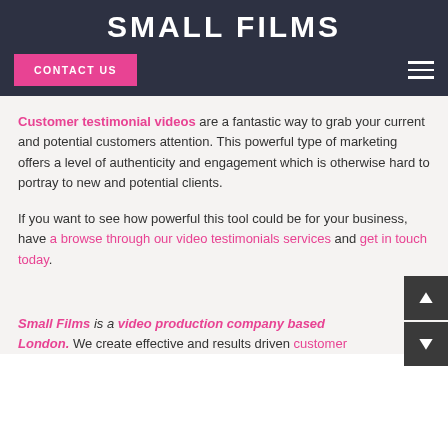SMALL FILMS
CONTACT US
Customer testimonial videos are a fantastic way to grab your current and potential customers attention. This powerful type of marketing offers a level of authenticity and engagement which is otherwise hard to portray to new and potential clients.
If you want to see how powerful this tool could be for your business, have a browse through our video testimonials services and get in touch today.
Small Films is a video production company based London. We create effective and results driven customer